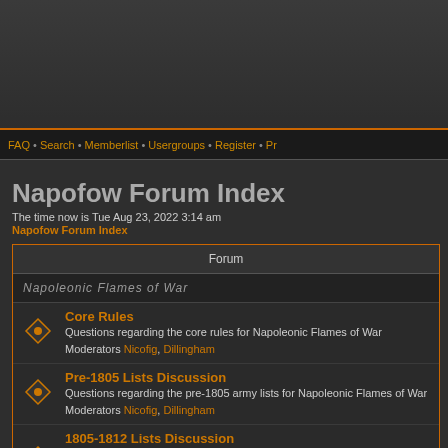[Figure (screenshot): Dark header banner area with orange border at bottom]
FAQ • Search • Memberlist • Usergroups • Register • Pr
Napofow Forum Index
The time now is Tue Aug 23, 2022 3:14 am
Napofow Forum Index
| Forum |
| --- |
| Napoleonic Flames of War |
| Core Rules | Questions regarding the core rules for Napoleonic Flames of War | Moderators Nicofig, Dillingham |
| Pre-1805 Lists Discussion | Questions regarding the pre-1805 army lists for Napoleonic Flames of War | Moderators Nicofig, Dillingham |
| 1805-1812 Lists Discussion | Questions regarding the 1805-1812 army lists for Napoleonic Flames of War | Moderators Nicofig, Dillingham |
| Post-1812 Army lists Discussion | Questions regarding the post 1812 army lists for Napoleonic Flames of War | Moderators Nicofig, Dillingham |